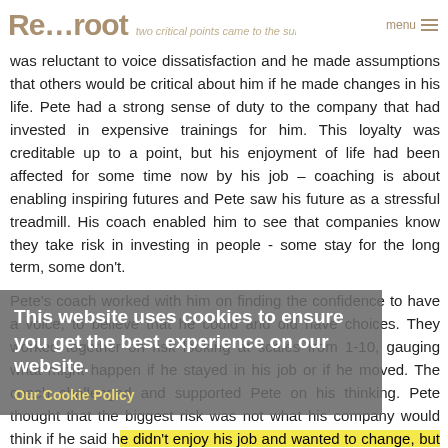Re...root  two critical points came to the surface  menu
was reluctant to voice dissatisfaction and he made assumptions that others would be critical about him if he made changes in his life. Pete had a strong sense of duty to the company that had invested in expensive trainings for him. This loyalty was creditable up to a point, but his enjoyment of life had been affected for some time now by his job – coaching is about enabling inspiring futures and Pete saw his future as a stressful treadmill. His coach enabled him to see that companies know they take risk in investing in people - some stay for the long term, some don't.
Pete's coach worked with him on finding the confidence to have a voice, to believe that he could and did have choices. They worked together on risk looking at scales from 1-10, gauging what might happen if he stayed in his job or if he moved. The coach challenged and supported Pete on his thinking. Pete thought that the biggest risk was not what his company would think if he said he didn't enjoy his job and wanted to change, but that his partner might leave him. In fact his relationship was already rocky because Pete had got into the habit of reducing stress by drinking after work and spending less and less time with his wife.
This website uses cookies to ensure you get the best experience on our website.
Our Cookie Policy